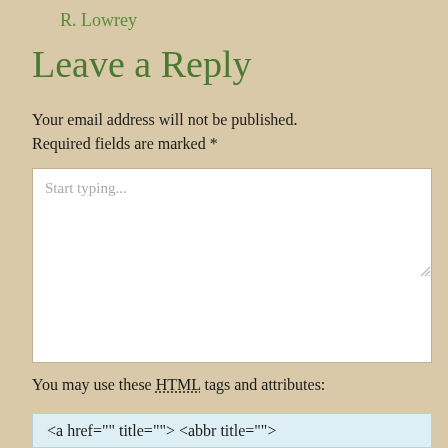R. Lowrey
Leave a Reply
Your email address will not be published. Required fields are marked *
Start typing...
You may use these HTML tags and attributes:
<a href="" title=""> <abbr title="">